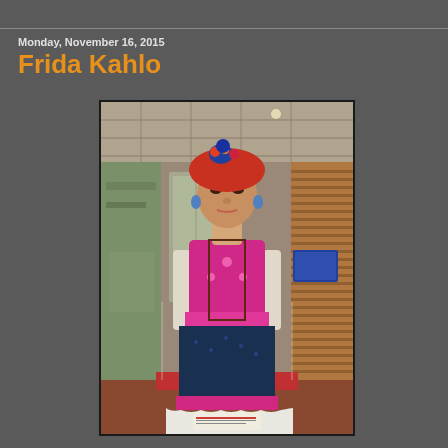Monday, November 16, 2015
Frida Kahlo
[Figure (photo): A large decorative mannequin or puppet depicting Frida Kahlo, dressed in a colorful Mexican-style costume with a pink/magenta blouse, dark skirt with pink trim, and a white ruffled underskirt. The figure has an elaborate headdress with orange and red elements and a blue pom-pom on top. Displayed in a glass case in what appears to be a modern public building or library lobby.]